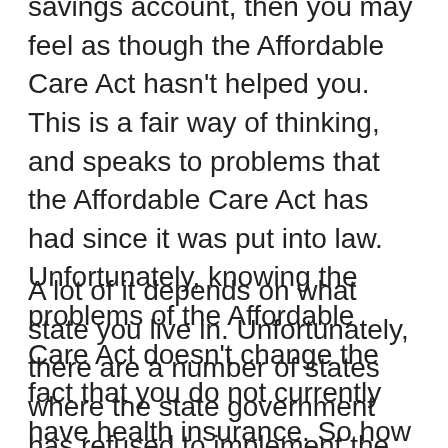savings account, then you may feel as though the Affordable Care Act hasn't helped you. This is a fair way of thinking, and speaks to problems that the Affordable Care Act has had since it was put into law. Unfortunately, knowing the problems of the Affordable Care Act doesn't change the fact that you do not currently have health insurance. So how does one find affordable Gotha, FL health insurance?
A lot of it depends on what state you live in. Unfortunately, there are a number of states where the state government has refused to implement the Affordable Care Act. In those states, it can be difficult to find cheap health insurance. This is because those states are not offering people the tax breaks that the Affordable Care Act promises for those who